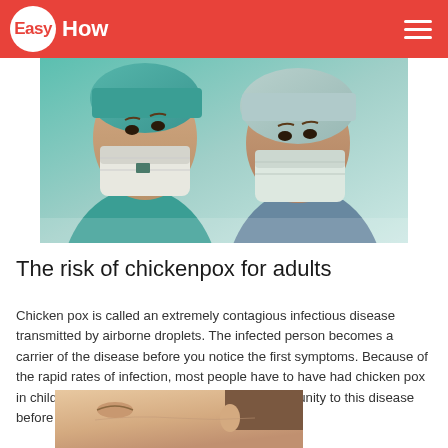EasyHow
[Figure (photo): Two medical professionals wearing surgical masks and scrubs looking downward at the camera]
The risk of chickenpox for adults
Chicken pox is called an extremely contagious infectious disease transmitted by airborne droplets. The infected person becomes a carrier of the disease before you notice the first symptoms. Because of the rapid rates of infection, most people have to have had chicken pox in childhood, and those who did not acquire immunity to this disease before puberty, the risk to transfer it to adulthood.
[Figure (photo): Close-up of a woman's face, partially visible, showing skin condition]